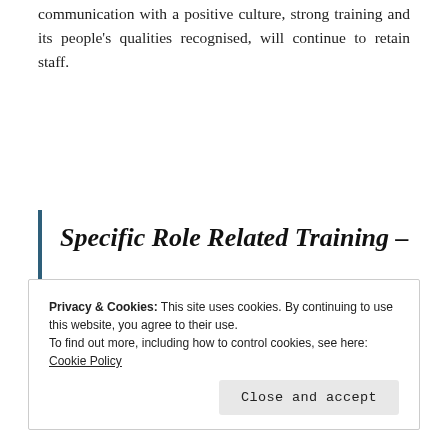communication with a positive culture, strong training and its people's qualities recognised, will continue to retain staff.
Specific Role Related Training – Ongoing
Privacy & Cookies: This site uses cookies. By continuing to use this website, you agree to their use.
To find out more, including how to control cookies, see here: Cookie Policy